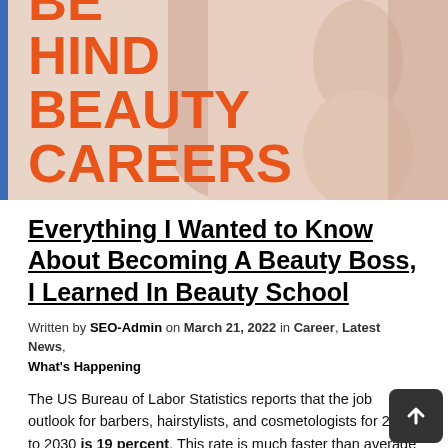[Figure (photo): Hero banner image with orange bold text reading 'BEHIND BEAUTY CAREERS' on a light background with skin-tone shapes, and a blue vertical bar on the left edge.]
Everything I Wanted to Know About Becoming A Beauty Boss, I Learned In Beauty School
Written by SEO-Admin on March 21, 2022 in Career, Latest News, What's Happening
The US Bureau of Labor Statistics reports that the job outlook for barbers, hairstylists, and cosmetologists for 2020 to 2030 is 19 percent. This rate is much faster than average job outlooks in other industries.
In other words, the beauty industry is thriving! So, if you've ever thought about getting started in the beauty industry, the time is now.